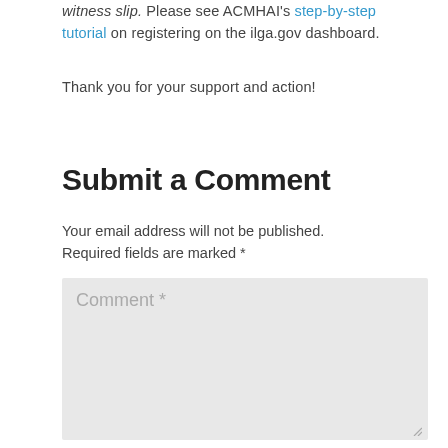witness slip. Please see ACMHAI's step-by-step tutorial on registering on the ilga.gov dashboard.
Thank you for your support and action!
Submit a Comment
Your email address will not be published. Required fields are marked *
[Figure (other): Comment text area input box with placeholder text 'Comment *' and a resize handle in the bottom-right corner]